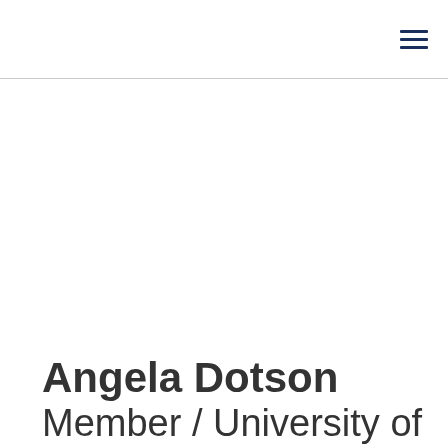Angela Dotson
Member / University of